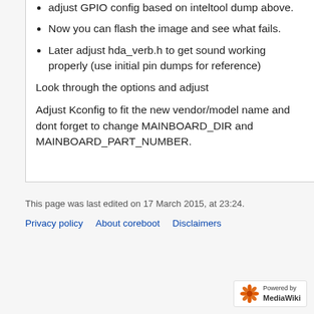adjust GPIO config based on inteltool dump above.
Now you can flash the image and see what fails.
Later adjust hda_verb.h to get sound working properly (use initial pin dumps for reference)
Look through the options and adjust
Adjust Kconfig to fit the new vendor/model name and dont forget to change MAINBOARD_DIR and MAINBOARD_PART_NUMBER.
This page was last edited on 17 March 2015, at 23:24.
Privacy policy   About coreboot   Disclaimers